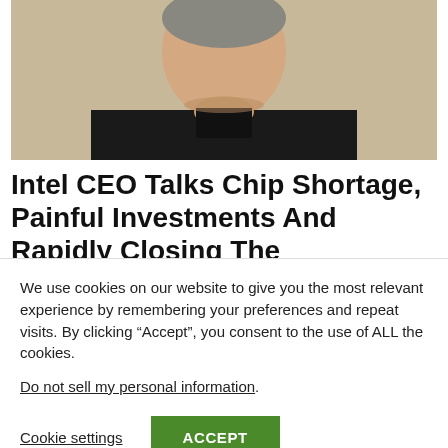[Figure (photo): Headshot of a man in a dark suit/shirt against a beige background, cropped to show head and upper shoulders]
Intel CEO Talks Chip Shortage, Painful Investments And Rapidly Closing The Competitive Gap
We use cookies on our website to give you the most relevant experience by remembering your preferences and repeat visits. By clicking “Accept”, you consent to the use of ALL the cookies.
Do not sell my personal information.
Cookie settings   ACCEPT